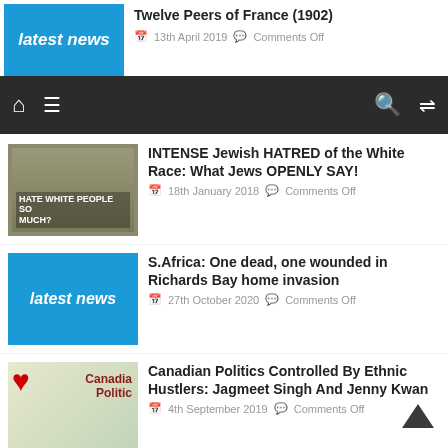[Figure (screenshot): Top partial article showing 'latest news' banner thumbnail and title 'Twelve Peers of France (1902)' with date 13th April 2019 and Comments Off]
Navigation bar with home, menu, search, and shuffle icons
[Figure (photo): Thumbnail showing a man with text overlay 'HATE WHITE PEOPLE SO MUCH?']
INTENSE Jewish HATRED of the White Race: What Jews OPENLY SAY!
18th January 2018   Comments Off
[Figure (illustration): Latest news blue banner thumbnail]
S.Africa: One dead, one wounded in Richards Bay home invasion
27th October 2020   Comments Off
[Figure (illustration): Canadian Politics map thumbnail with maple leaf and text 'Canadian Politic']
Canadian Politics Controlled By Ethnic Hustlers: Jagmeet Singh And Jenny Kwan
4th September 2019   Comments Off
[Figure (photo): Sepia thumbnail for Adolf Hitler article]
22 Reasons why Adolf Hitler was a GOOD GUY!